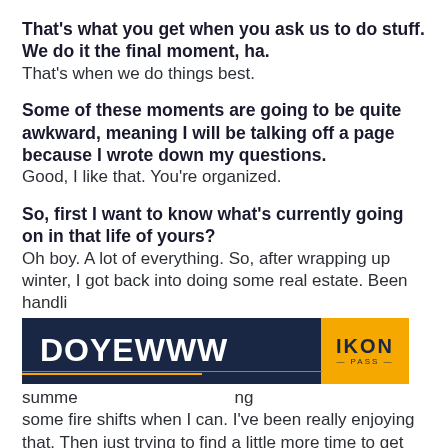That's what you get when you ask us to do stuff. We do it the final moment, ha. That's when we do things best.
Some of these moments are going to be quite awkward, meaning I will be talking off a page because I wrote down my questions. Good, I like that. You're organized.
So, first I want to know what's currently going on in that life of yours? Oh boy. A lot of everything. So, after wrapping up winter, I got back into doing some real estate. Been handli[ng]... summe[r]... [ng] some fire shifts when I can. I've been really enjoying that. Then just trying to find a little more time to get
[Figure (logo): DOYEWWW advertisement banner with IKON PASS logo on yellow background]